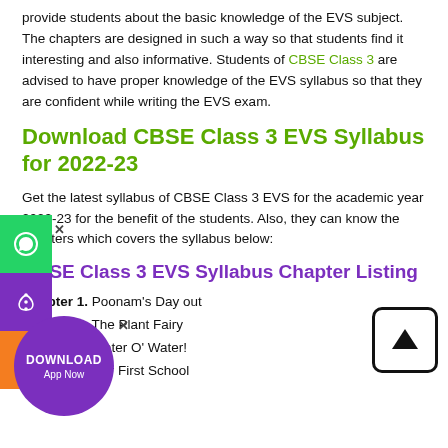provide students about the basic knowledge of the EVS subject. The chapters are designed in such a way so that students find it interesting and also informative. Students of CBSE Class 3 are advised to have proper knowledge of the EVS syllabus so that they are confident while writing the EVS exam.
Download CBSE Class 3 EVS Syllabus for 2022-23
Get the latest syllabus of CBSE Class 3 EVS for the academic year 2022-23 for the benefit of the students. Also, they can know the chapters which covers the syllabus below:
CBSE Class 3 EVS Syllabus Chapter Listing
Chapter 1. Poonam's Day out
Chapter 2. The Plant Fairy
Chapter 3. Water O' Water!
Chapter 4. Our First School